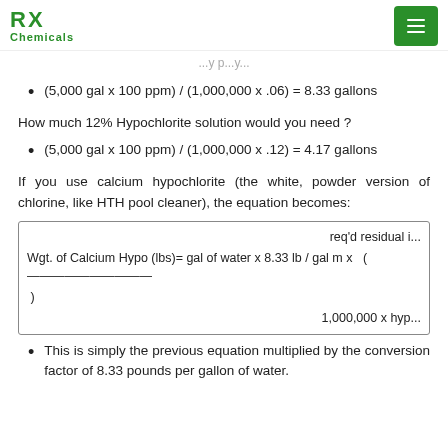RX Chemicals
...y p...y...
(5,000 gal x 100 ppm) / (1,000,000 x .06) = 8.33 gallons
How much 12% Hypochlorite solution would you need ?
(5,000 gal x 100 ppm) / (1,000,000 x .12) = 4.17 gallons
If you use calcium hypochlorite (the white, powder version of chlorine, like HTH pool cleaner), the equation becomes:
This is simply the previous equation multiplied by the conversion factor of 8.33 pounds per gallon of water.